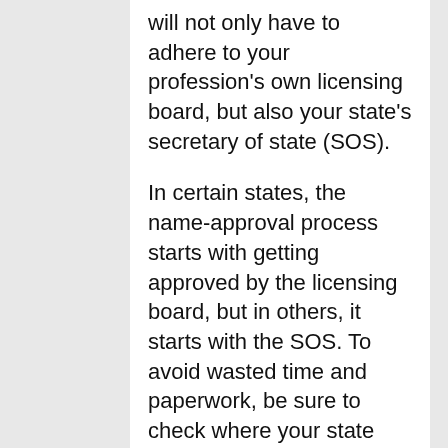will not only have to adhere to your profession's own licensing board, but also your state's secretary of state (SOS).
In certain states, the name-approval process starts with getting approved by the licensing board, but in others, it starts with the SOS. To avoid wasted time and paperwork, be sure to check where your state starts the name-approval process before making any applications.
Similarly, business-name laws prohibit anyone who's not licensed in the state to use certain professions in the company's name